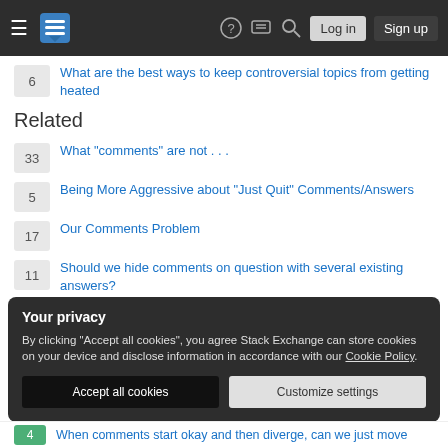Stack Exchange navigation bar with Log in and Sign up buttons
6 What are the best ways to keep controversial topics from getting heated
Related
33 What "comments" are not . . .
5 Being More Aggressive about "Just Quit" Comments/Answers
17 Our Comments Problem
11 Should we hide comments on question with several existing answers?
Your privacy
By clicking "Accept all cookies", you agree Stack Exchange can store cookies on your device and disclose information in accordance with our Cookie Policy.
Accept all cookies   Customize settings
4 When comments start okay and then diverge, can we just move